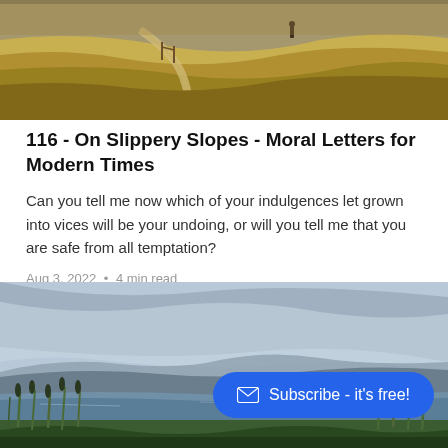[Figure (photo): Landscape photo showing a hillside path through golden grass with a person visible in the distance, sepia/warm tones]
116 - On Slippery Slopes - Moral Letters for Modern Times
Can you tell me now which of your indulgences let grown into vices will be your undoing, or will you tell me that you are safe from all temptation?
Aug 3, 2022 • 4 min read
[Figure (photo): Landscape photo of a lake with reeds in the foreground and hills in the background under a cloudy sky]
Subscribe - it's free!